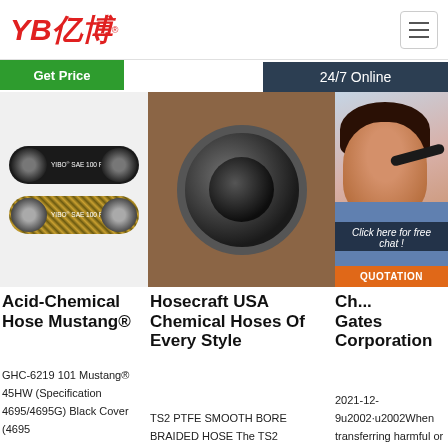YB亿博® [hamburger menu]
Get Price
24/7 Online
[Figure (photo): Two black SAE 100 R19 hydraulic hoses with gold braided ends labeled YIBO SAE 100 R19]
[Figure (photo): Close-up of a hand holding a black hydraulic hose end showing the interior bore]
[Figure (photo): Customer service representative with headset smiling, with 24/7 Online banner and Click here for free chat text and QUOTATION button]
Acid-Chemical Hose Mustang®
GHC-6219 101 Mustang® 45HW (Specification 4695/4695G) Black Cover (4695
Hosecraft USA Chemical Hoses Of Every Style
TS2 PTFE SMOOTH BORE BRAIDED HOSE The TS2
Ch... Gates Corporation
2021-12-9u2002·u2002When transferring harmful or toxic fluids in your chemical